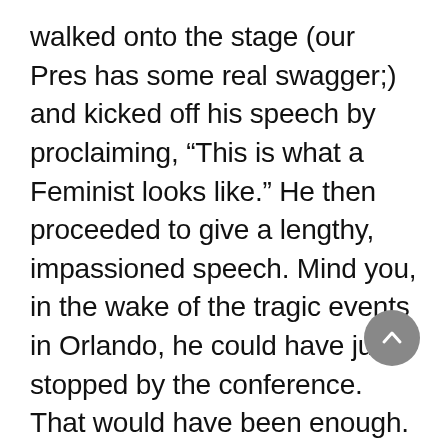walked onto the stage (our Pres has some real swagger;) and kicked off his speech by proclaiming, “This is what a Feminist looks like.” He then proceeded to give a lengthy, impassioned speech. Mind you, in the wake of the tragic events in Orlando, he could have just stopped by the conference. That would have been enough. He also could have spoken to us for a few minutes. That would have been terrific. But he didn’t. He fervently delivered what should be considered a seminal speech for him on the advancement of women and girls. And it brought the house down multiple times. Here is a great clip where he is talking about his daughters and how they see